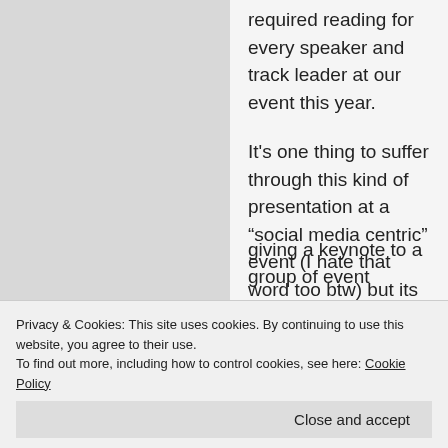required reading for every speaker and track leader at our event this year.
It’s one thing to suffer through this kind of presentation at a “social media centric” event (I hate that word too btw) but its even worse when you witness it at a conference that has nothing to do with social media.
This happened to me recently. A giving a keynote to a group of event
Privacy & Cookies: This site uses cookies. By continuing to use this website, you agree to their use.
To find out more, including how to control cookies, see here: Cookie Policy
Close and accept